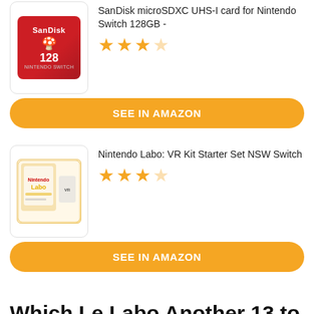SanDisk microSDXC UHS-I card for Nintendo Switch 128GB -
[Figure (photo): SanDisk 128GB Nintendo Switch microSDXC card in red packaging]
★★★☆ (3.5 stars)
SEE IN AMAZON
Nintendo Labo: VR Kit Starter Set NSW Switch
[Figure (photo): Nintendo Labo VR Kit Starter Set box with Switch console shown]
★★★☆ (3.5 stars)
SEE IN AMAZON
Which Le Labo Another 13 to buy?